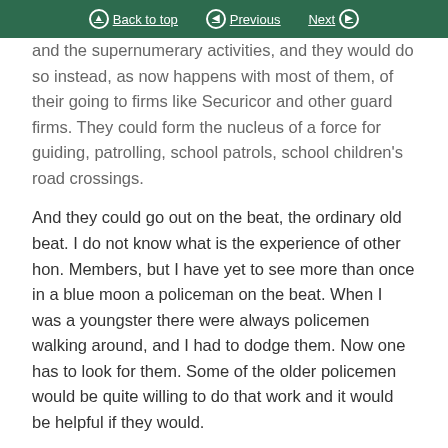Back to top | Previous | Next
and the supernumerary activities, and they would do so instead, as now happens with most of them, of their going to firms like Securicor and other guard firms. They could form the nucleus of a force for guiding, patrolling, school patrols, school children's road crossings.
And they could go out on the beat, the ordinary old beat. I do not know what is the experience of other hon. Members, but I have yet to see more than once in a blue moon a policeman on the beat. When I was a youngster there were always policemen walking around, and I had to dodge them. Now one has to look for them. Some of the older policemen would be quite willing to do that work and it would be helpful if they would.